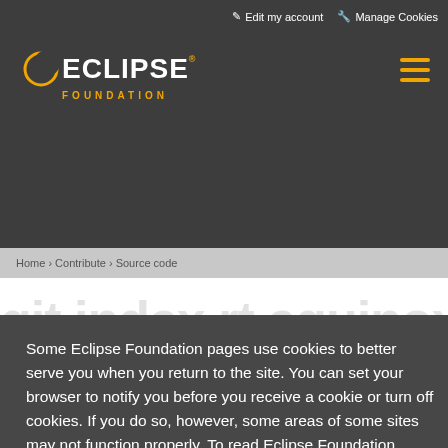Edit my account   Manage Cookies
[Figure (logo): Eclipse Foundation logo with crescent moon icon, white ECLIPSE text, orange FOUNDATION text]
[Figure (other): Hamburger menu icon with three orange horizontal lines]
Some Eclipse Foundation pages use cookies to better serve you when you return to the site. You can set your browser to notify you before you receive a cookie or turn off cookies. If you do so, however, some areas of some sites may not function properly. To read Eclipse Foundation Privacy Policy click here.
Decline
Allow cookies